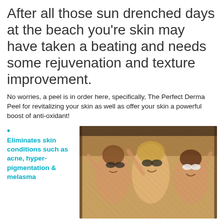After all those sun drenched days at the beach you're skin may have taken a beating and needs some rejuvenation and texture improvement.
No worries, a peel is in order here, specifically, The Perfect Derma Peel for revitalizing your skin as well as offer your skin a powerful boost of anti-oxidant!
• Eliminates skin conditions such as acne, hyper-pigmentation & melasma
[Figure (photo): Three young women wearing sunglasses smiling and having fun, photographed from inside a vehicle looking up at them against a warm sunny background]
• Rejuvenates skin
• Lighten & Brighten skin
• Reduce pore size & soften fine lines and wrinkles